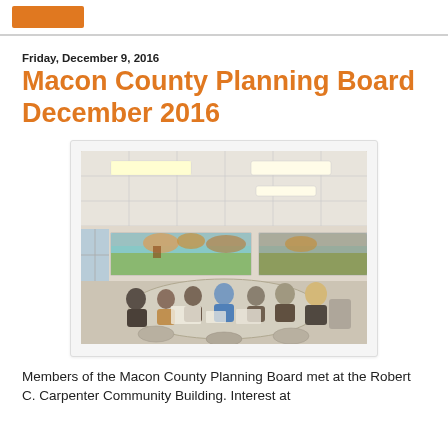Friday, December 9, 2016
Macon County Planning Board December 2016
[Figure (photo): Members of the Macon County Planning Board seated around a large table in a meeting room with landscape murals on the wall and fluorescent ceiling lights.]
Members of the Macon County Planning Board met at the Robert C. Carpenter Community Building. Interest at...